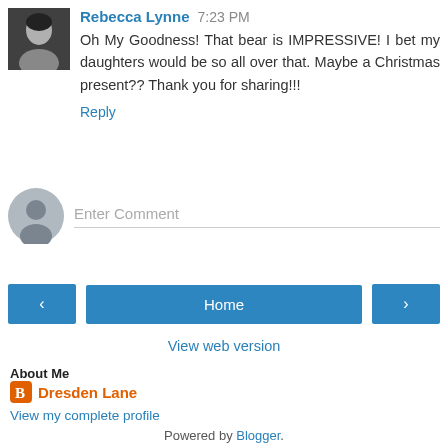Rebecca Lynne 7:23 PM
Oh My Goodness! That bear is IMPRESSIVE! I bet my daughters would be so all over that. Maybe a Christmas present?? Thank you for sharing!!!
Reply
Enter Comment
Home
View web version
About Me
Dresden Lane
View my complete profile
Powered by Blogger.